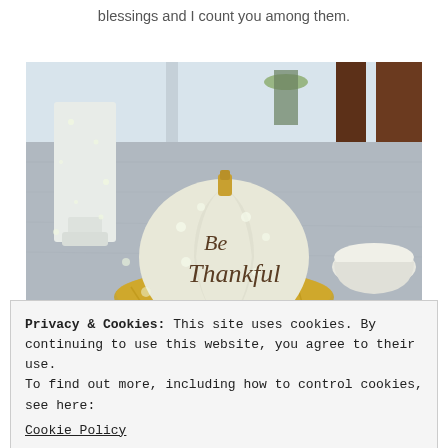blessings and I count you among them.
[Figure (photo): A white pumpkin with 'Be Thankful' written in script, decorated with gold tinsel wreath on a wooden table, with a white candle holder on left and white bowl on right, bokeh lights in background.]
Privacy & Cookies: This site uses cookies. By continuing to use this website, you agree to their use.
To find out more, including how to control cookies, see here:
Cookie Policy
Close and accept
surprise last night when I found out she used purple!